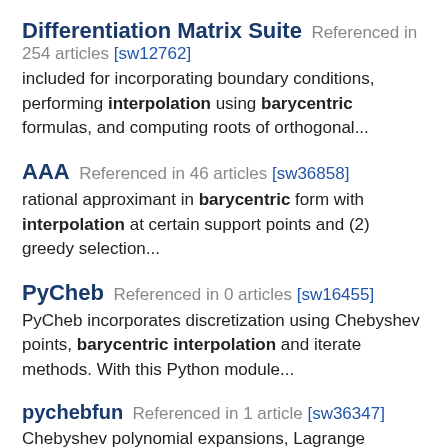Differentiation Matrix Suite Referenced in 254 articles [sw12762] included for incorporating boundary conditions, performing interpolation using barycentric formulas, and computing roots of orthogonal...
AAA Referenced in 46 articles [sw36858] rational approximant in barycentric form with interpolation at certain support points and (2) greedy selection...
PyCheb Referenced in 0 articles [sw16455] PyCheb incorporates discretization using Chebyshev points, barycentric interpolation and iterate methods. With this Python module...
pychebfun Referenced in 1 article [sw36347] Chebyshev polynomial expansions, Lagrange